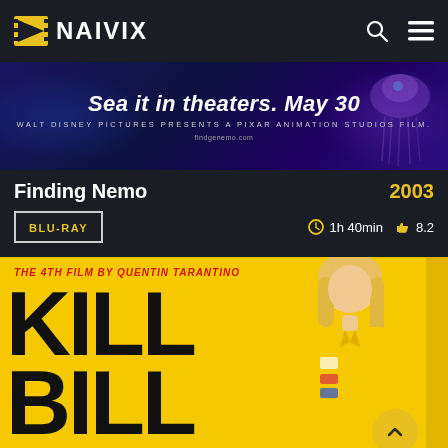NAIVIX
[Figure (illustration): Finding Nemo movie banner ad: 'Sea it in theaters. May 30' — Walt Disney Pictures presents a Pixar Animation Studios film, dark ocean background with animated fish characters]
Finding Nemo     2003
BLU-RAY    1h 40min    8.2
[Figure (photo): Kill Bill movie poster: yellow background with text 'THE 4TH FILM BY QUENTIN TARANTINO' in red, 'KILL BILL' in large black letters, woman in yellow jacket with blonde hair on right side]